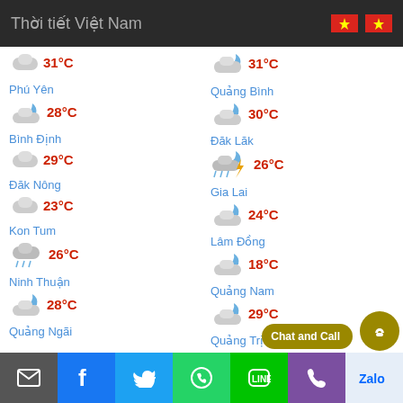Thời tiết Việt Nam
31°C (left column top)
31°C (right column top)
Phú Yên 28°C
Quảng Bình 30°C
Bình Định 29°C
Đăk Lăk 26°C
Đăk Nông 23°C
Gia Lai 24°C
Kon Tum 26°C
Lâm Đồng 18°C
Ninh Thuận 28°C
Quảng Nam 29°C
Quảng Ngãi
Quảng Trị
mail | f | twitter | whatsapp | line | phone | zalo